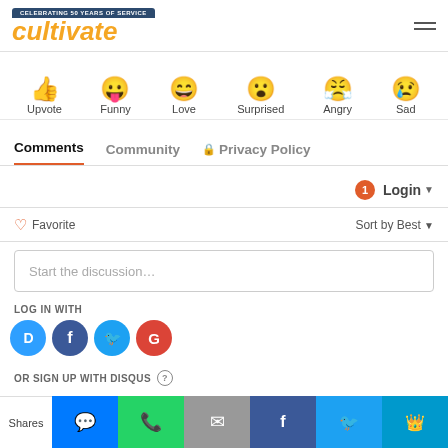[Figure (logo): Cultivate logo with 'Celebrating 50 Years of Service' banner above yellow italic text]
[Figure (infographic): Row of emoji reactions: Upvote (thumbs up), Funny (tongue out), Love (laughing), Surprised, Angry, Sad]
Comments   Community   🔒 Privacy Policy
1  Login ▼
♡ Favorite   Sort by Best ▼
Start the discussion…
LOG IN WITH
[Figure (infographic): Social login icons: Disqus, Facebook, Twitter, Google]
OR SIGN UP WITH DISQUS  ?
Shares
[Figure (infographic): Share bar with SMS, WhatsApp, Email, Facebook, Twitter, More buttons]